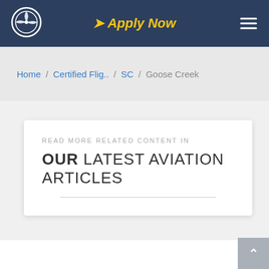Apply Now
Home / Certified Flig.. / SC / Goose Creek
READ MORE RELATED CONTENT IN OUR LATEST AVIATION ARTICLES